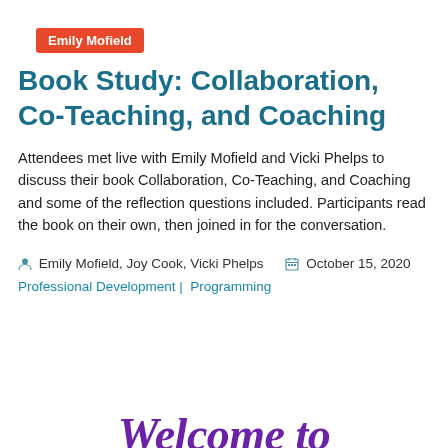Emily Mofield
Book Study: Collaboration, Co-Teaching, and Coaching
Attendees met live with Emily Mofield and Vicki Phelps to discuss their book Collaboration, Co-Teaching, and Coaching and some of the reflection questions included. Participants read the book on their own, then joined in for the conversation.
Emily Mofield, Joy Cook, Vicki Phelps  October 15, 2020
Professional Development |  Programming
[Figure (illustration): Decorative cursive text reading 'Welcome to' in purple script font at the bottom of the page]